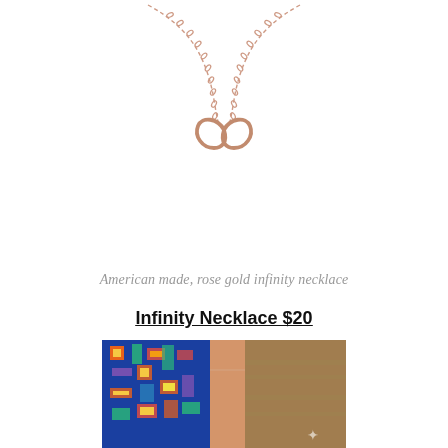[Figure (photo): Rose gold infinity necklace on white background. A delicate chain drapes down on both sides from a central infinity symbol pendant. The chain forms a gentle U-shape with the infinity symbol centered at the bottom.]
American made, rose gold infinity necklace
Infinity Necklace $20
[Figure (photo): Close-up photo of a person wearing the infinity necklace, showing skin and a colorful patterned fabric (blue, orange, yellow geometric/Aztec print). The necklace is barely visible as a thin line.]